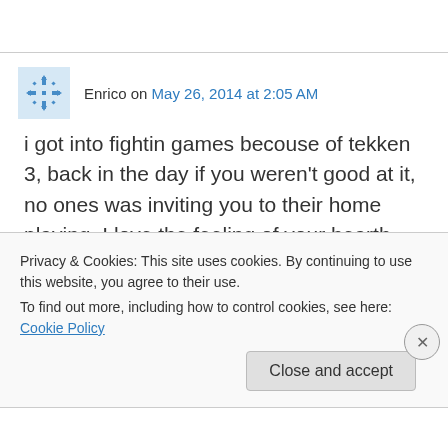Enrico on May 26, 2014 at 2:05 AM
i got into fightin games becouse of tekken 3, back in the day if you weren't good at it, no ones was inviting you to their home playing. I love the feeling of your hearth pumping hard in your chest even if you are playing a long time friend,
Privacy & Cookies: This site uses cookies. By continuing to use this website, you agree to their use.
To find out more, including how to control cookies, see here: Cookie Policy